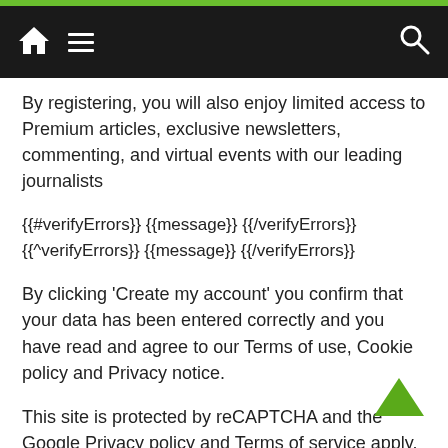Navigation bar with home icon, menu icon, and search icon
By registering, you will also enjoy limited access to Premium articles, exclusive newsletters, commenting, and virtual events with our leading journalists
{{#verifyErrors}} {{message}} {{/verifyErrors}} {{^verifyErrors}} {{message}} {{/verifyErrors}}
By clicking ‘Create my account’ you confirm that your data has been entered correctly and you have read and agree to our Terms of use, Cookie policy and Privacy notice.
This site is protected by reCAPTCHA and the Google Privacy policy and Terms of service apply.
Already have an account? sign in
By clicking ‘Register’ you confirm that your data has been entered correctly and you have read and agree